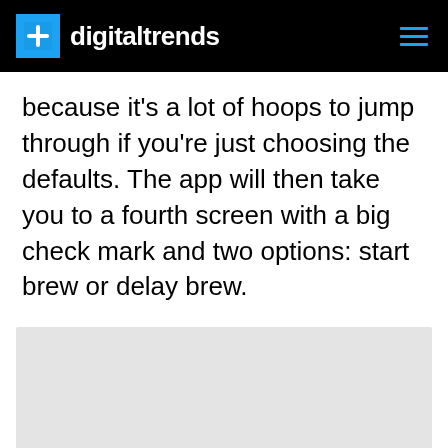digitaltrends
because it's a lot of hoops to jump through if you're just choosing the defaults. The app will then take you to a fourth screen with a big check mark and two options: start brew or delay brew.
[Figure (photo): Light gray rectangular image placeholder]